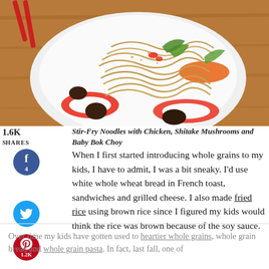[Figure (photo): Plate of stir-fry noodles with chicken, shiitake mushrooms, and baby bok choy on a white plate with red bell pepper rings, on a wooden surface, with red chopsticks visible at top left]
Stir-Fry Noodles with Chicken, Shitake Mushrooms and Baby Bok Choy
When I first started introducing whole grains to my kids, I have to admit, I was a bit sneaky. I'd use white whole wheat bread in French toast, sandwiches and grilled cheese. I also made fried rice using brown rice since I figured my kids would think the rice was brown because of the soy sauce.
Over time my kids have gotten used to heartier whole grains, whole grain bread and whole grain pasta. In fact, last fall, one of